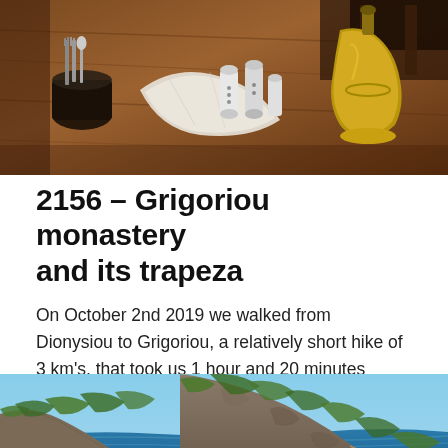[Figure (photo): A wooden table with cutlery (forks and spoons in a holder), salt and pepper shakers, a folded white napkin, and a brass bell — interior of a monastery trapeza (dining hall).]
2156 – Grigoriou monastery and its trapeza
On October 2nd 2019 we walked from Dionysiou to Grigoriou, a relatively short hike of 3 km's, that took us 1 hour and 20 minutes walking time, but the steep climbs and the vicious descents made it a tough trip.
[Figure (photo): A panoramic coastal view of steep rocky cliffs descending to calm blue sea, with dense green vegetation on the slopes, typical of the Mount Athos peninsula coastline.]